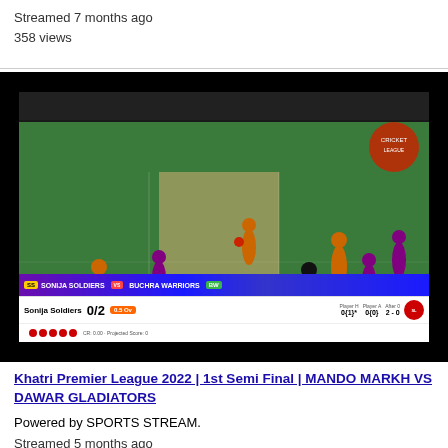Streamed 7 months ago
358 views
[Figure (screenshot): Cricket match live stream screenshot showing players on field with score overlay: Sonija Soldiers 0/2, 0.5 Ov vs Buchra Warriors]
Khatri Premier League 2022 | 1st Semi Final | MANDO MARKH VS DAWAR GLADIATORS
Powered by SPORTS STREAM.
Streamed 5 months ago